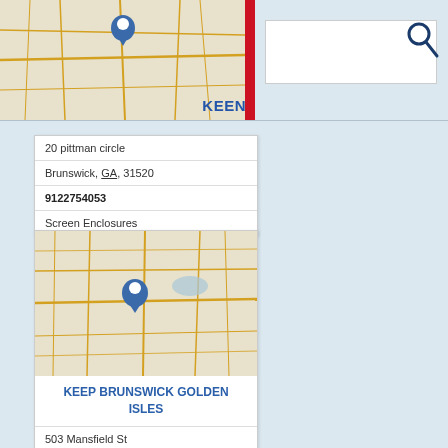[Figure (screenshot): Page header showing partial map with red bar and KEEN label, plus search box with search icon]
20 pittman circle
Brunswick, GA, 31520
9122754053
Screen Enclosures
[Figure (map): Map thumbnail showing Brunswick GA area with location pin marker]
KEEP BRUNSWICK GOLDEN ISLES
503 Mansfield St
Brunswick, GA, 31520
9122791490
Aluminum Recycling
Cardboard Recycling
Computer Recycling
Electronics Recycling
Metal Recycling